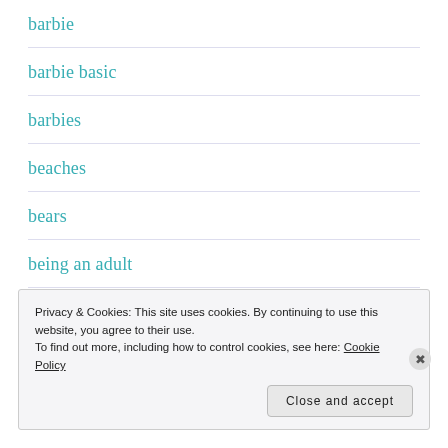barbie
barbie basic
barbies
beaches
bears
being an adult
big boobs
Privacy & Cookies: This site uses cookies. By continuing to use this website, you agree to their use. To find out more, including how to control cookies, see here: Cookie Policy
Close and accept